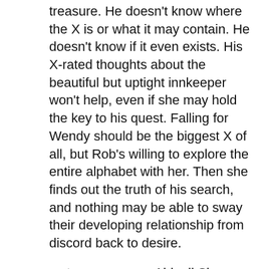treasure. He doesn't know where the X is or what it may contain. He doesn't know if it even exists. His X-rated thoughts about the beautiful but uptight innkeeper won't help, even if she may hold the key to his quest. Falling for Wendy should be the biggest X of all, but Rob's willing to explore the entire alphabet with her. Then she finds out the truth of his search, and nothing may be able to sway their developing relationship from discord back to desire.
Author: Abigail Sharpe
Romance
Usual Price 3.99
Paperback Price 11.99
Amazon Get it on Amazon!